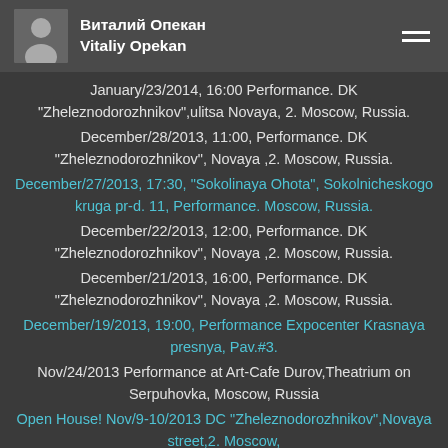Виталий Опекан Vitaliy Opekan
January/23/2014, 16:00 Performance. DK "Zheleznodorozhnikov",ulitsa Novaya, 2. Moscow, Russia.
December/28/2013, 11:00, Performance. DK "Zheleznodorozhnikov", Novaya ,2. Moscow, Russia.
December/27/2013, 17:30, "Sokolinaya Ohota", Sokolnicheskogo kruga pr-d. 11, Performance. Moscow, Russia.
December/22/2013, 12:00, Performance. DK "Zheleznodorozhnikov", Novaya ,2. Moscow, Russia.
December/21/2013, 16:00, Performance. DK "Zheleznodorozhnikov", Novaya ,2. Moscow, Russia.
December/19/2013, 19:00, Performance Expocenter Krasnaya presnya, Pav.#3.
Nov/24/2013 Performance at Art-Cafe Durov,Theatrium on Serpuhovka, Moscow, Russia
Open House! Nov/9-10/2013 DC "Zheleznodorozhnikov",Novaya street,2. Moscow, Russia.